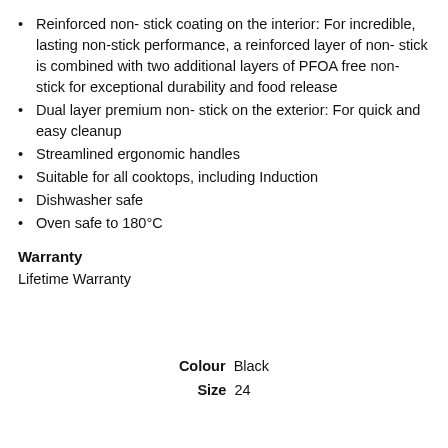Reinforced non- stick coating on the interior: For incredible, lasting non-stick performance, a reinforced layer of non- stick is combined with two additional layers of PFOA free non- stick for exceptional durability and food release
Dual layer premium non- stick on the exterior: For quick and easy cleanup
Streamlined ergonomic handles
Suitable for all cooktops, including Induction
Dishwasher safe
Oven safe to 180°C
Warranty
Lifetime Warranty
Colour  Black
Size  24